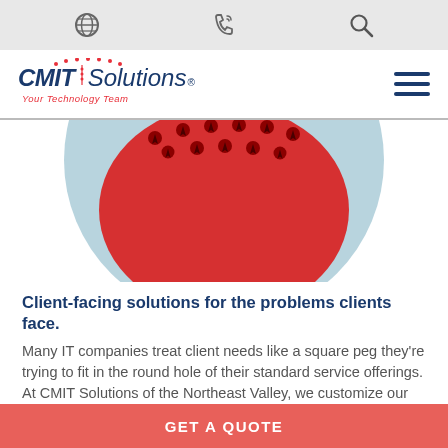Utility bar with globe, phone, and search icons
[Figure (logo): CMIT Solutions logo — italic bold navy 'CMIT' followed by light italic 'Solutions' with red dot-arc decoration and registered mark, tagline 'Your Technology Team' in red italic below]
[Figure (illustration): Circular illustration showing a large light-blue circle with a red semicircle/dome shape inside containing multiple small dark red necktie figures arranged in a crowd, viewed from above]
Client-facing solutions for the problems clients face.
Many IT companies treat client needs like a square peg they're trying to fit in the round hole of their standard service offerings. At CMIT Solutions of the Northeast Valley, we customize our comprehensive suite of services to provide the services our clients actually
GET A QUOTE